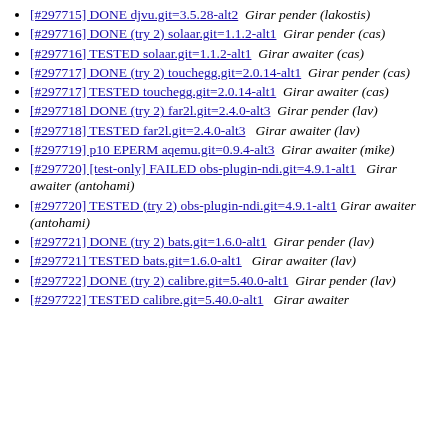[#297715] DONE djvu.git=3.5.28-alt2  Girar pender (lakostis)
[#297716] DONE (try 2) solaar.git=1.1.2-alt1  Girar pender (cas)
[#297716] TESTED solaar.git=1.1.2-alt1  Girar awaiter (cas)
[#297717] DONE (try 2) touchegg.git=2.0.14-alt1  Girar pender (cas)
[#297717] TESTED touchegg.git=2.0.14-alt1  Girar awaiter (cas)
[#297718] DONE (try 2) far2l.git=2.4.0-alt3  Girar pender (lav)
[#297718] TESTED far2l.git=2.4.0-alt3  Girar awaiter (lav)
[#297719] p10 EPERM aqemu.git=0.9.4-alt3  Girar awaiter (mike)
[#297720] [test-only] FAILED obs-plugin-ndi.git=4.9.1-alt1  Girar awaiter (antohami)
[#297720] TESTED (try 2) obs-plugin-ndi.git=4.9.1-alt1  Girar awaiter (antohami)
[#297721] DONE (try 2) bats.git=1.6.0-alt1  Girar pender (lav)
[#297721] TESTED bats.git=1.6.0-alt1  Girar awaiter (lav)
[#297722] DONE (try 2) calibre.git=5.40.0-alt1  Girar pender (lav)
[#297722] TESTED calibre.git=5.40.0-alt1  Girar awaiter